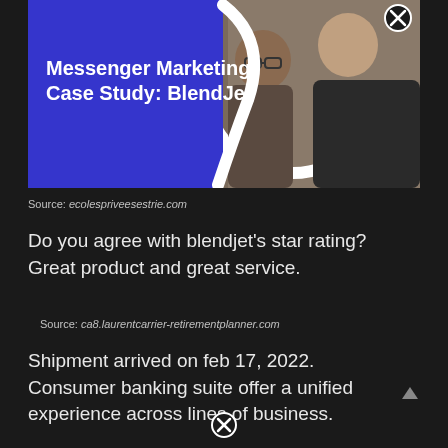[Figure (photo): Messenger Marketing Case Study: BlendJet banner with blue background and two men smiling, with a close button in the top right corner]
Source: ecolespriveesestrie.com
Do you agree with blendjet's star rating? Great product and great service.
Source: ca8.laurentcarrier-retirementplanner.com
Shipment arrived on feb 17, 2022. Consumer banking suite offer a unified experience across lines of business.